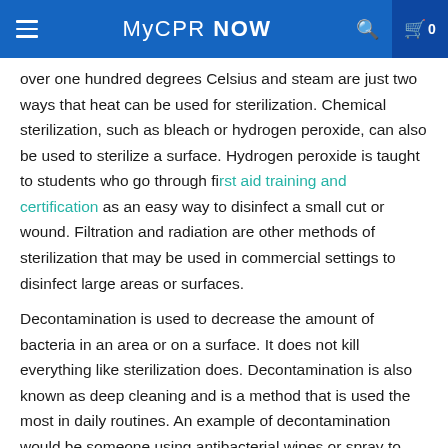MyCPR NOW
over one hundred degrees Celsius and steam are just two ways that heat can be used for sterilization. Chemical sterilization, such as bleach or hydrogen peroxide, can also be used to sterilize a surface. Hydrogen peroxide is taught to students who go through first aid training and certification as an easy way to disinfect a small cut or wound. Filtration and radiation are other methods of sterilization that may be used in commercial settings to disinfect large areas or surfaces.
Decontamination is used to decrease the amount of bacteria in an area or on a surface. It does not kill everything like sterilization does. Decontamination is also known as deep cleaning and is a method that is used the most in daily routines. An example of decontamination would be someone using antibacterial wipes or spray to wipe down their computer desk and chair at the end of a